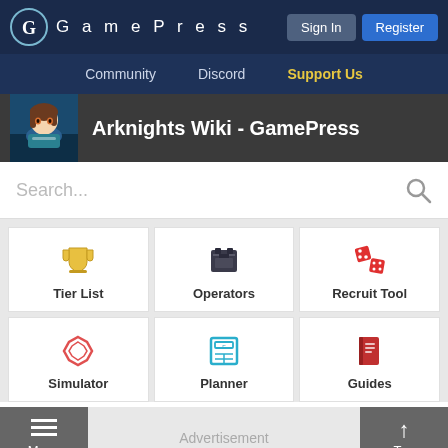GamePress | Sign In | Register
Community | Discord | Support Us
Arknights Wiki - GamePress
Search...
Tier List
Operators
Recruit Tool
Simulator
Planner
Guides
Advertisement
Menu | Advertisement | Top